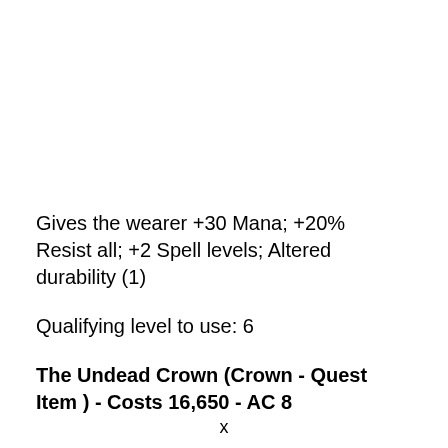Gives the wearer +30 Mana; +20% Resist all; +2 Spell levels; Altered durability (1)
Qualifying level to use: 6
The Undead Crown (Crown - Quest Item ) - Costs 16,650 - AC 8